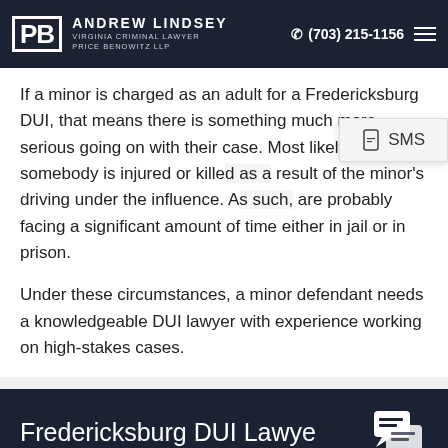Andrew Lindsey Virginia Criminal Lawyer Price Benowitz LLP | (703) 215-1156
If a minor is charged as an adult for a Fredericksburg DUI, that means there is something much more serious going on with their case. Most likely, somebody is injured or killed as a result of the minor's driving under the influence. As [such, they] are probably facing a significant amount of time either in jail or in prison.
Under these circumstances, a minor defendant needs a knowledgeable DUI lawyer with experience working on high-stakes cases.
Fredericksburg DUI Lawye[r]